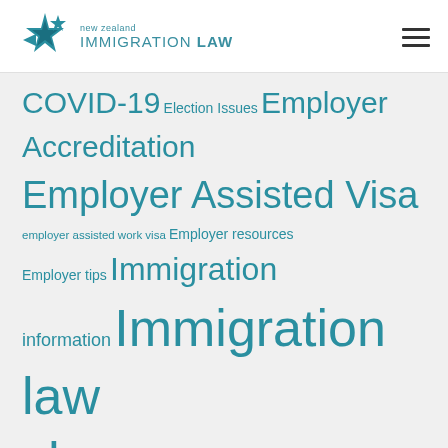new zealand IMMIGRATION LAW
COVID-19 Election Issues Employer Accreditation Employer Assisted Visa employer assisted work visa Employer resources Employer tips Immigration information Immigration law changes Immigration News Migrant Employment Migrant news New Zealand news New Zealand residence visa New Zealand Residency New Zealand Travel New Zealand work visa NZ immigration rules changes 2017 Opinion Skilled labour shortage skilled migrant visa Visa information